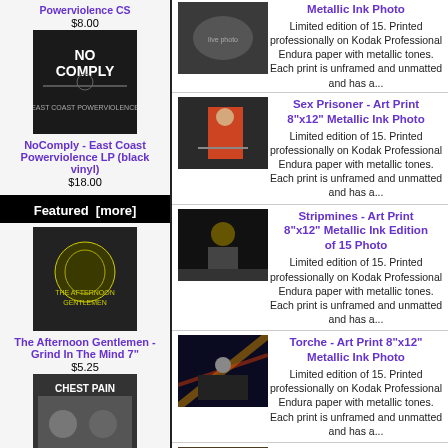[Figure (photo): NoComply East Coast Powerviolence LP black vinyl album cover - dark image with band photo]
NoComply - East Coast Powerviolence LP (black vinyl)
$18.00
Featured [more]
[Figure (photo): The Afternoon Gentlemen - Grind In The Mind 7 inch - yellow illustrated album art]
The Afternoon Gentlemen - Grind In The Mind 7"
$5.25
[Figure (photo): Chest Pain album cover - black and white]
[Figure (photo): Concert photo - band playing live, crowd]
Metallic Ink Photo
Limited edition of 15. Printed professionally on Kodak Professional Endura paper with metallic tones. Each print is unframed and unmatted and has a...
[Figure (photo): Sex Prisoner live photo - performer in red shirt]
Sex Prisoner - Art Print 8"x12" Metallic Ink Photo
Limited edition of 15. Printed professionally on Kodak Professional Endura paper with metallic tones. Each print is unframed and unmatted and has a...
[Figure (photo): Stripmines live photo - performer jumping on stage]
Stripmines - Art Print 8"x12" Metallic Ink Edition of 15 Photo
Limited edition of 15. Printed professionally on Kodak Professional Endura paper with metallic tones. Each print is unframed and unmatted and has a...
[Figure (photo): Torche live photo - motion blur lighting]
Torche - Art Print 8"x12" Metallic Ink Photo
Limited edition of 15. Printed professionally on Kodak Professional Endura paper with metallic tones. Each print is unframed and unmatted and has a...
[Figure (photo): Triangle Chance for All - Hypatia photo - animal in nest]
Triangle Chance for All - Hypatia - Art Print 8"x12" Photo
Special Limited edition of 6 where most of the money will be donated to...